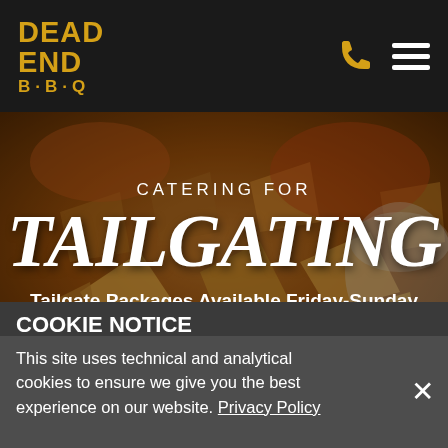DEAD END B·B·Q
[Figure (photo): Background photo of nachos and BBQ food spread with warm orange tones]
CATERING FOR
TAILGATING
Tailgate Packages Available Friday-Sunday
COOKIE NOTICE
This site uses technical and analytical cookies to ensure we give you the best experience on our website. Privacy Policy